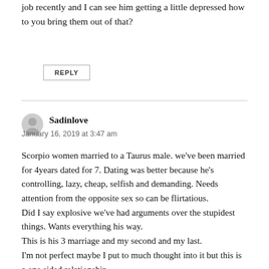job recently and I can see him getting a little depressed how to you bring them out of that?
REPLY
Sadinlove
January 16, 2019 at 3:47 am
Scorpio women married to a Taurus male. we've been married for 4years dated for 7. Dating was better because he's controlling, lazy, cheap, selfish and demanding. Needs attention from the opposite sex so can be flirtatious.
Did I say explosive we've had arguments over the stupidest things. Wants everything his way.
This is his 3 marriage and my second and my last.
I'm not perfect maybe I put to much thought into it but this is a one sided relationship.